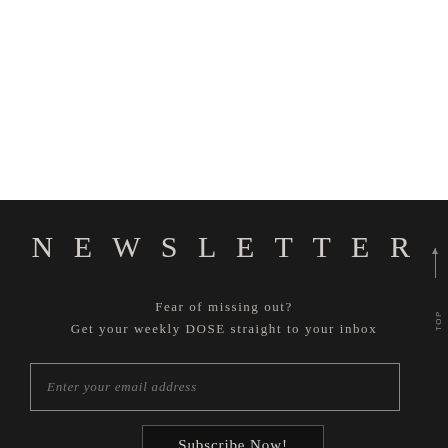NEWSLETTER
Fear of missing out?
Get your weekly DOSE straight to your inbox
Enter your email address
Subscribe Now!